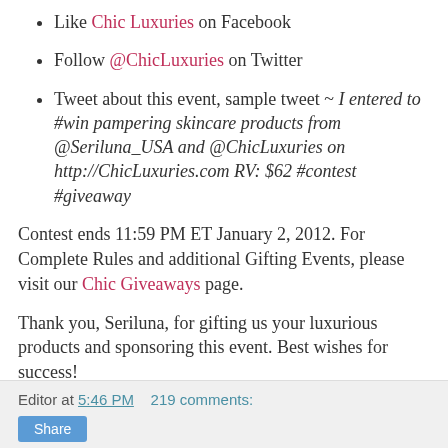Like Chic Luxuries on Facebook
Follow @ChicLuxuries on Twitter
Tweet about this event, sample tweet ~ I entered to #win pampering skincare products from @Seriluna_USA and @ChicLuxuries on http://ChicLuxuries.com RV: $62 #contest #giveaway
Contest ends 11:59 PM ET January 2, 2012. For Complete Rules and additional Gifting Events, please visit our Chic Giveaways page.
Thank you, Seriluna, for gifting us your luxurious products and sponsoring this event. Best wishes for success!
Editor at 5:46 PM   219 comments: